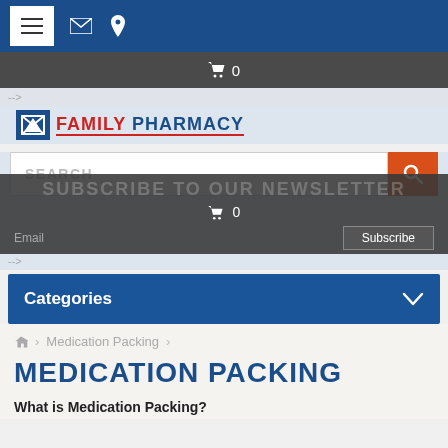Navigation bar with menu, mail, and location icons
🛒 0
-->
[Figure (logo): Family Pharmacy logo with arrow icon, FAMILY in red, PHARMACY in blue]
SEARCH
SUBSCRIBE TO OUR NEWSLETTER
🛒 0
Subscribe
-->
Categories
Medication Packing
MEDICATION PACKING
What is Medication Packing?